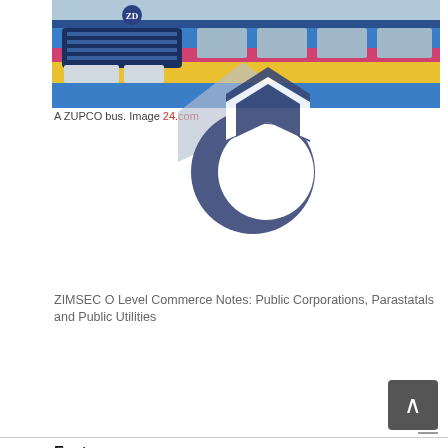[Figure (photo): A ZUPCO bus with colorful livery — blue, yellow, and red — photographed from the front-side angle.]
A ZUPCO bus. Image 24.com
ZIMSEC O Level Commerce Notes: Public Corporations, Parastatals and Public Utilities
Features
Established by an act of parliament.
Provides essential goods and services e.g. transport (NRZ)
The main aim is to provide essential services at affordable prices.